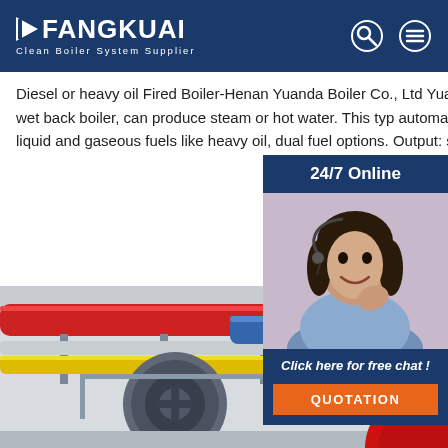FANGKUAI Clean Boiler System Supplier
Diesel or heavy oil Fired Boiler-Henan Yuanda Boiler Co., Ltd Yuanda Boiler since 1956. Oil fired boiler is the 3-pass wet back boiler, can produce steam or hot water. This type automatic, safe, energy saving and designed to range of liquid and gaseous fuels like heavy oil, dual fuel options. Output: steam. Capacity: 0.5-4 2500hp. Styles:
[Figure (photo): Customer service representative woman with headset, 24/7 Online panel with quotation button]
[Figure (photo): Industrial boiler facility interior showing pipes (red, yellow) and boiler equipment]